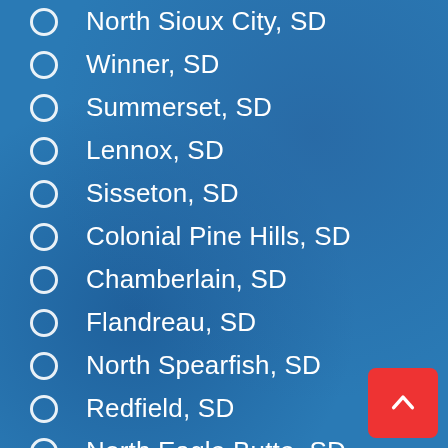North Sioux City, SD
Winner, SD
Summerset, SD
Lennox, SD
Sisseton, SD
Colonial Pine Hills, SD
Chamberlain, SD
Flandreau, SD
North Spearfish, SD
Redfield, SD
North Eagle Butte, SD